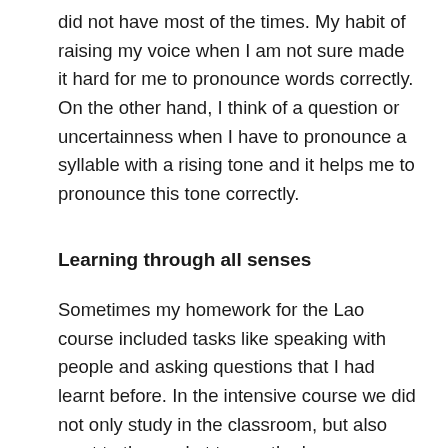did not have most of the times. My habit of raising my voice when I am not sure made it hard for me to pronounce words correctly. On the other hand, I think of a question or uncertainness when I have to pronounce a syllable with a rising tone and it helps me to pronounce this tone correctly.
Learning through all senses
Sometimes my homework for the Lao course included tasks like speaking with people and asking questions that I had learnt before. In the intensive course we did not only study in the classroom, but also went to the market to use the language. Another time I went with Teacher Khanthanaly to her relatives'